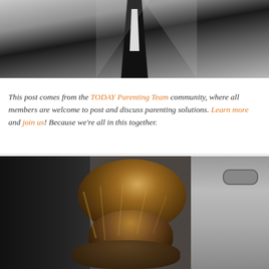[Figure (photo): Black and white photo showing a person in a dark jacket with white shirt visible, arms outstretched, shot from above against a light textured background]
This post comes from the TODAY Parenting Team community, where all members are welcome to post and discuss parenting solutions. Learn more and join us! Because we're all in this together.
[Figure (photo): Color photo taken inside a car showing the back of a woman's head with hair in a messy bun/updo, brown with highlights, car interior visible around her]